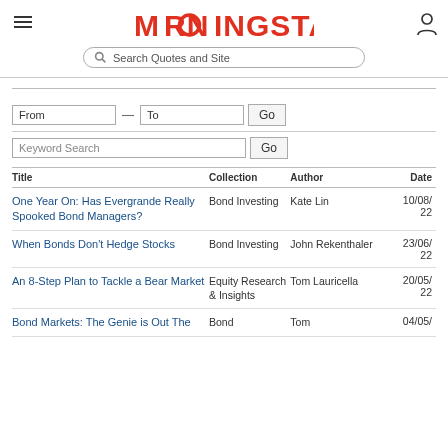[Figure (logo): Morningstar logo in red with stylized O]
[Figure (screenshot): Search bar with magnifying glass icon and placeholder text 'Search Quotes and Site']
| Title | Collection | Author | Date |
| --- | --- | --- | --- |
| One Year On: Has Evergrande Really Spooked Bond Managers? | Bond Investing | Kate Lin | 10/08/22 |
| When Bonds Don't Hedge Stocks | Bond Investing | John Rekenthaler | 23/06/22 |
| An 8-Step Plan to Tackle a Bear Market | Equity Research & Insights | Tom Lauricella | 20/05/22 |
| Bond Markets: The Genie is Out The | Bond | Tom | 04/05/ |